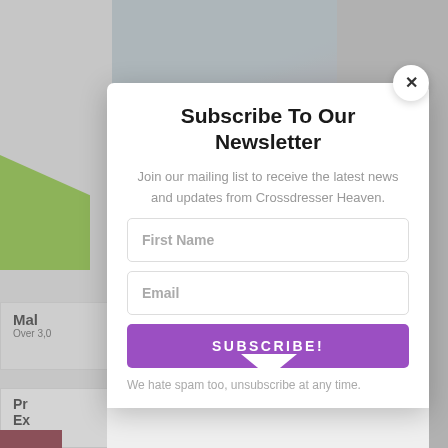[Figure (screenshot): Background webpage screenshot showing a partially visible webpage with a photo at the top and sidebar content on the left, overlaid by a newsletter subscription modal popup.]
Subscribe To Our Newsletter
Join our mailing list to receive the latest news and updates from Crossdresser Heaven.
First Name
Email
SUBSCRIBE!
We hate spam too, unsubscribe at any time.